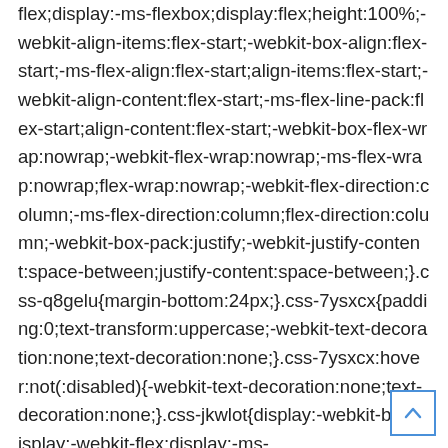flex;display:-ms-flexbox;display:flex;height:100%;-webkit-align-items:flex-start;-webkit-box-align:flex-start;-ms-flex-align:flex-start;align-items:flex-start;-webkit-align-content:flex-start;-ms-flex-line-pack:flex-start;align-content:flex-start;-webkit-box-flex-wrap:nowrap;-webkit-flex-wrap:nowrap;-ms-flex-wrap:nowrap;flex-wrap:nowrap;-webkit-flex-direction:column;-ms-flex-direction:column;flex-direction:column;-webkit-box-pack:justify;-webkit-justify-content:space-between;justify-content:space-between;}.css-q8gelu{margin-bottom:24px;}.css-7ysxcx{padding:0;text-transform:uppercase;-webkit-text-decoration:none;text-decoration:none;}.css-7ysxcx:hover:not(:disabled){-webkit-text-decoration:none;text-decoration:none;}.css-jkwlot{display:-webkit-box;display:-webkit-flex;display:-ms-
[Figure (other): A scroll-to-top button in the bottom-right corner: a square with a blue border containing an upward-pointing caret/chevron symbol.]